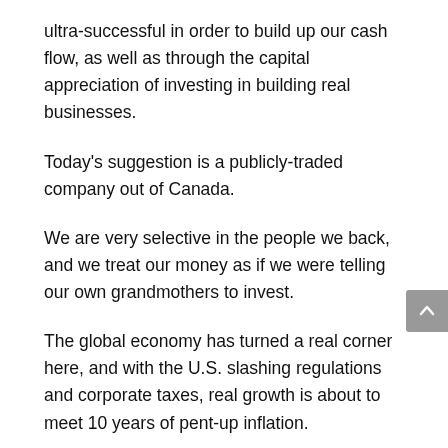ultra-successful in order to build up our cash flow, as well as through the capital appreciation of investing in building real businesses.
Today's suggestion is a publicly-traded company out of Canada.
We are very selective in the people we back, and we treat our money as if we were telling our own grandmothers to invest.
The global economy has turned a real corner here, and with the U.S. slashing regulations and corporate taxes, real growth is about to meet 10 years of pent-up inflation.
Demand for commodities is soaring, and you can